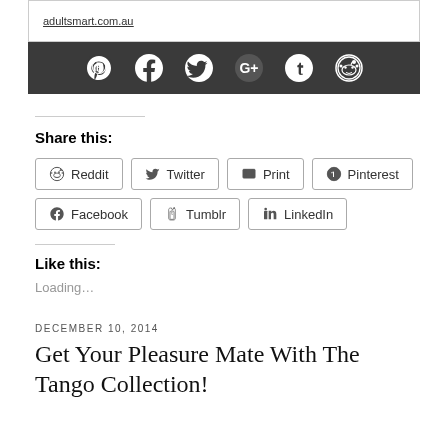adultsmart.com.au
[Figure (infographic): Dark social sharing bar with icons: Pinterest, Facebook, Twitter, Google+, Tumblr, Reddit]
Share this:
Reddit
Twitter
Print
Pinterest
Facebook
Tumblr
LinkedIn
Like this:
Loading…
DECEMBER 10, 2014
Get Your Pleasure Mate With The Tango Collection!